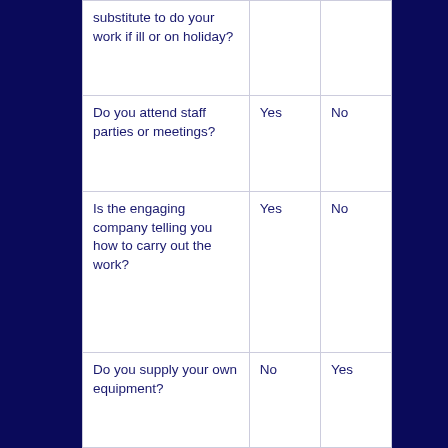| Question | Employee indicator | Self-employed indicator |
| --- | --- | --- |
| ...substitute to do your work if ill or on holiday? |  |  |
| Do you attend staff parties or meetings? | Yes | No |
| Is the engaging company telling you how to carry out the work? | Yes | No |
| Do you supply your own equipment? | No | Yes |